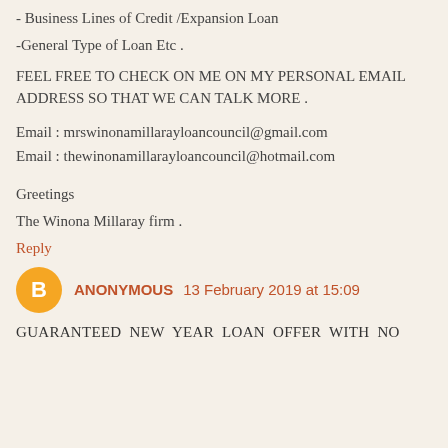- Business Lines of Credit /Expansion Loan
-General Type of Loan Etc .
FEEL FREE TO CHECK ON ME ON MY PERSONAL EMAIL ADDRESS SO THAT WE CAN TALK MORE .
Email : mrswinonamillara yloancouncil@gmail.com
Email : thewinonamillarayloancouncil@hotmail.com
Greetings
The Winona Millaray firm .
Reply
ANONYMOUS 13 February 2019 at 15:09
GUARANTEED NEW YEAR LOAN OFFER WITH NO